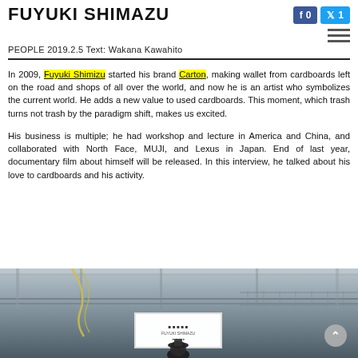FUYUKI SHIMAZU
PEOPLE   2019.2.5   Text: Wakana Kawahito
In 2009, Fuyuki Shimizu started his brand Carton, making wallet from cardboards left on the road and shops of all over the world, and now he is an artist who symbolizes the current world. He adds a new value to used cardboards. This moment, which trash turns not trash by the paradigm shift, makes us excited.
His business is multiple; he had workshop and lecture in America and China, and collaborated with North Face, MUJI, and Lexus in Japan. End of last year, documentary film about himself will be released. In this interview, he talked about his love to cardboards and his activity.
[Figure (photo): Indoor photo of a large open space, possibly a mall or exhibition hall, with structural beams and railings visible. A figure wearing dark clothing and hat is seen in the lower portion.]